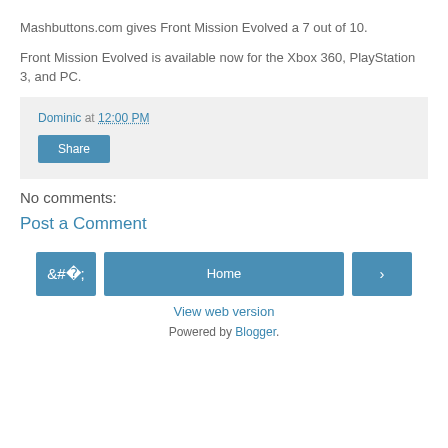Mashbuttons.com gives Front Mission Evolved a 7 out of 10.
Front Mission Evolved is available now for the Xbox 360, PlayStation 3, and PC.
Dominic at 12:00 PM
Share
No comments:
Post a Comment
Home
View web version
Powered by Blogger.